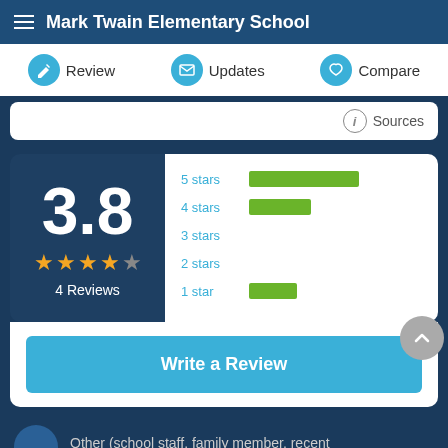Mark Twain Elementary School
Review | Updates | Compare
Sources
[Figure (bar-chart): Horizontal bar chart showing star rating distribution: 5 stars has longest bar, 4 stars medium bar, 3 and 2 stars empty, 1 star small bar]
3.8
4 Reviews
Write a Review
Other (school staff, family member, recent